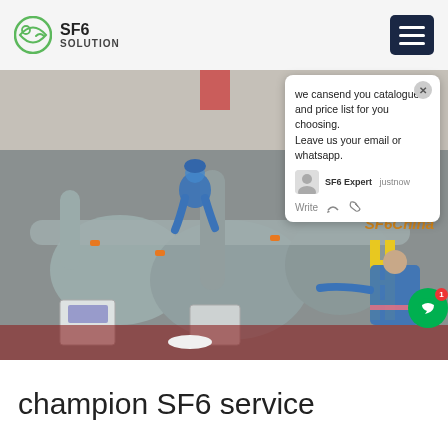SF6 SOLUTION
[Figure (photo): Two technicians in blue uniforms and helmets working on large SF6 gas electrical equipment (GIS substation) in an industrial facility. Equipment includes large grey cylindrical vessels, pipes, and portable gas handling units on a red floor. Watermark reads SF6China.]
we cansend you catalogue and price list for you choosing. Leave us your email or whatsapp.
SF6 Expert    justnow
Write
champion SF6 service